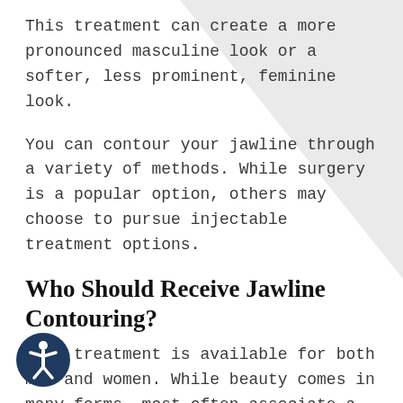This treatment can create a more pronounced masculine look or a softer, less prominent, feminine look.
You can contour your jawline through a variety of methods. While surgery is a popular option, others may choose to pursue injectable treatment options.
Who Should Receive Jawline Contouring?
This treatment is available for both men and women. While beauty comes in many forms, most often associate a feminine face with the shapes of a given tradition or the most